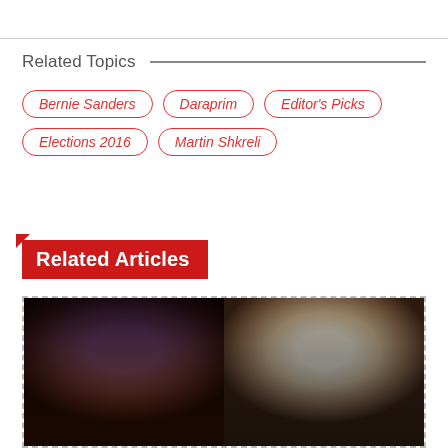Related Topics
Bernie Sanders
Daraprim
Editor's Picks
Elections 2016
Martin Shkreli
Related Articles
[Figure (photo): Two photos side by side: left photo shows Bernie Sanders (elderly white-haired man with glasses), right photo shows another political figure (man with dark hair)]